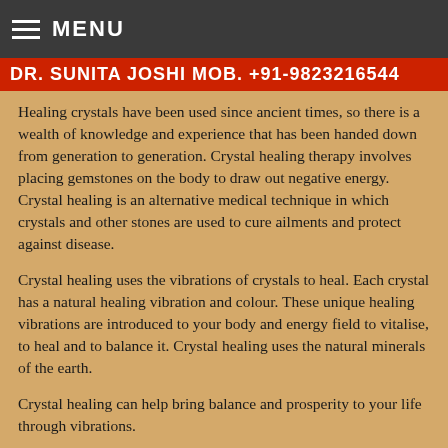MENU
DR. SUNITA JOSHI MOB. +91-9823216544
Healing crystals have been used since ancient times, so there is a wealth of knowledge and experience that has been handed down from generation to generation. Crystal healing therapy involves placing gemstones on the body to draw out negative energy. Crystal healing is an alternative medical technique in which crystals and other stones are used to cure ailments and protect against disease.
Crystal healing uses the vibrations of crystals to heal. Each crystal has a natural healing vibration and colour. These unique healing vibrations are introduced to your body and energy field to vitalise, to heal and to balance it. Crystal healing uses the natural minerals of the earth.
Crystal healing can help bring balance and prosperity to your life through vibrations.
Healing crystals harness the life-giving elements of the Earth and the universe. Harnessing the energy of the Sun, the Moon, and the oceans, semi-precious stones connect us to Earth as soon as